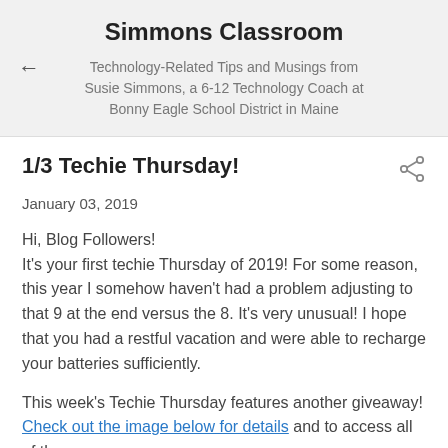Simmons Classroom
Technology-Related Tips and Musings from Susie Simmons, a 6-12 Technology Coach at Bonny Eagle School District in Maine
1/3 Techie Thursday!
January 03, 2019
Hi, Blog Followers!
It's your first techie Thursday of 2019! For some reason, this year I somehow haven't had a problem adjusting to that 9 at the end versus the 8. It's very unusual! I hope that you had a restful vacation and were able to recharge your batteries sufficiently.

This week's Techie Thursday features another giveaway! Check out the image below for details and to access all of the